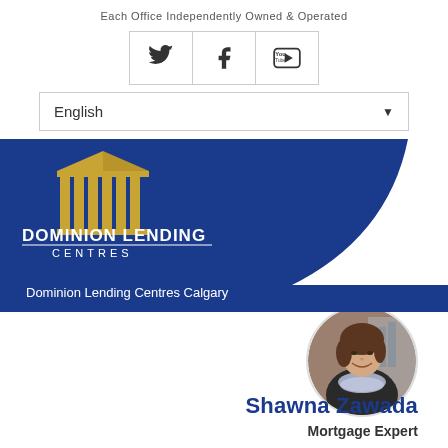Each Office Independently Owned & Operated
[Figure (other): Social media icons: Twitter, Facebook, YouTube]
[Figure (other): Language selector dropdown showing English]
[Figure (logo): Dominion Lending Centres logo with gold columns icon on dark blue banner background]
Dominion Lending Centres Calgary
[Figure (photo): Circular profile photo of Shawna Zawada, a woman smiling wearing a scarf]
Shawna Zawada
Mortgage Expert